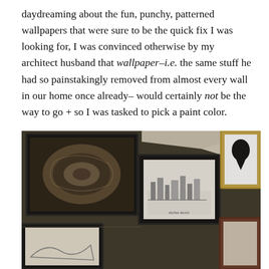daydreaming about the fun, punchy, patterned wallpapers that were sure to be the quick fix I was looking for, I was convinced otherwise by my architect husband that wallpaper–i.e. the same stuff he had so painstakingly removed from almost every wall in our home once already– would certainly not be the way to go + so I was tasked to pick a paint color.
[Figure (photo): Interior room photo showing framed artwork on a dark olive/charcoal wall. Multiple black-framed pictures are visible: one showing a close-up of a snail shell, one showing a city skyline sketch, one with a black silhouette portrait on white background in a gold frame, and partial frames with other artwork at the bottom.]